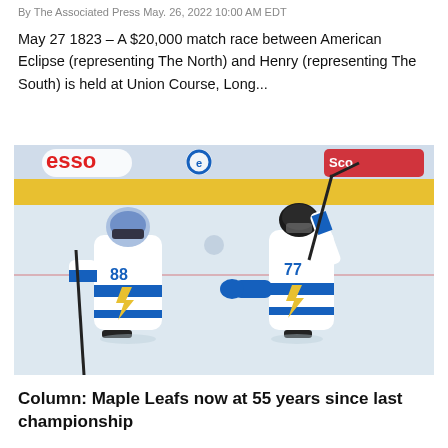By The Associated Press May. 26, 2022 10:00 AM EDT
May 27 1823 – A $20,000 match race between American Eclipse (representing The North) and Henry (representing The South) is held at Union Course, Long...
[Figure (photo): Two Tampa Bay Lightning hockey players in white jerseys celebrating on ice rink, one a goalie (#88) and one a skater (#77), with Esso and Scotiabank rink boards visible in background.]
Column: Maple Leafs now at 55 years since last championship